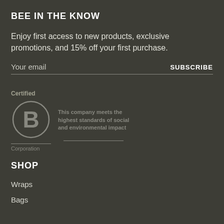BEE IN THE KNOW
Enjoy first access to new products, exclusive promotions, and 15% off your first purchase.
Your email
SUBSCRIBE
[Figure (logo): B Corporation certified logo with circle containing letter B, with text 'Certified' above and 'Corporation' below. Tagline reads: This company meets the highest standards of social and environmental impact]
SHOP
Wraps
Bags